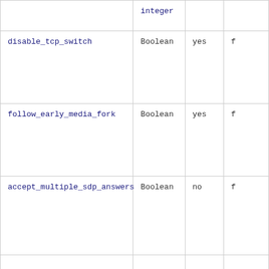| Name | Type | Required | Default |
| --- | --- | --- | --- |
|  | integer |  |  |
| disable_tcp_switch | Boolean | yes | f |
| follow_early_media_fork | Boolean | yes | f |
| accept_multiple_sdp_answers | Boolean | no | f |
|  |  |  |  |